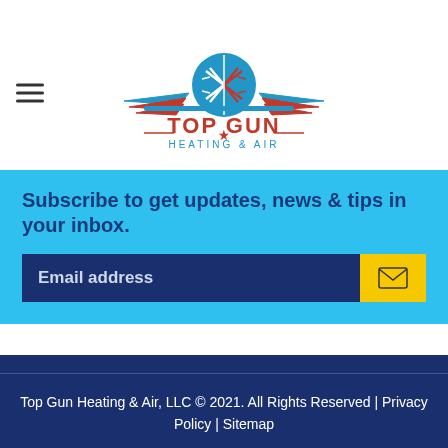[Figure (logo): Top Gun Heating & Air logo with snowflake/sun icon and wings]
Subscribe to get updates, news & tips in your inbox.
Email address
Top Gun Heating & Air, LLC © 2021. All Rights Reserved | Privacy Policy | Sitemap
[Figure (infographic): Social media icons: Facebook, Yelp, Twitter, Instagram, YouTube — red circles with white icons]